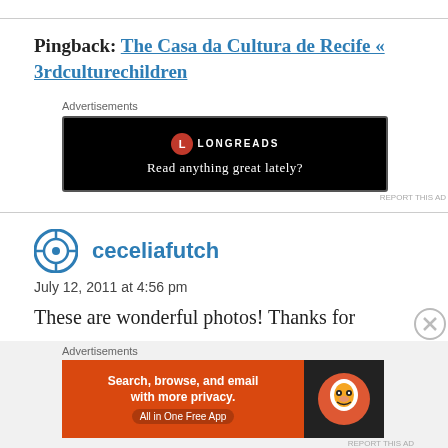Pingback: The Casa da Cultura de Recife « 3rdculturechildren
[Figure (other): Longreads advertisement banner: black background with Longreads logo and text 'Read anything great lately?']
ceceliafutch
July 12, 2011 at 4:56 pm
These are wonderful photos! Thanks for
[Figure (other): DuckDuckGo advertisement banner: 'Search, browse, and email with more privacy. All in One Free App']